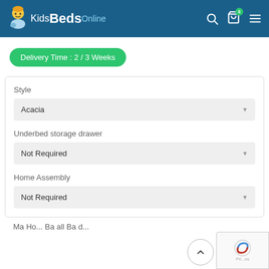Kids Beds Online
Delivery Time : 2 / 3 Weeks
Style
Acacia
Underbed storage drawer
Not Required
Home Assembly
Not Required